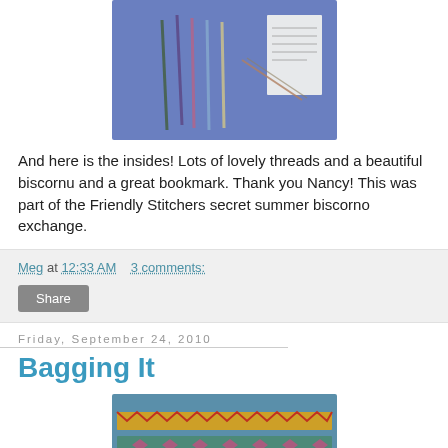[Figure (photo): Photo of embroidery threads, a biscornu, and other needlework items laid out on a blue fabric background]
And here is the insides!  Lots of lovely threads and a beautiful biscornu and a great bookmark.  Thank you Nancy!  This was part of the Friendly Stitchers secret summer biscorno exchange.
Meg at 12:33 AM    3 comments:
Share
Friday, September 24, 2010
Bagging It
[Figure (photo): Photo of a needlework bookmark or band with colorful cross-stitch pattern on blue fabric background]